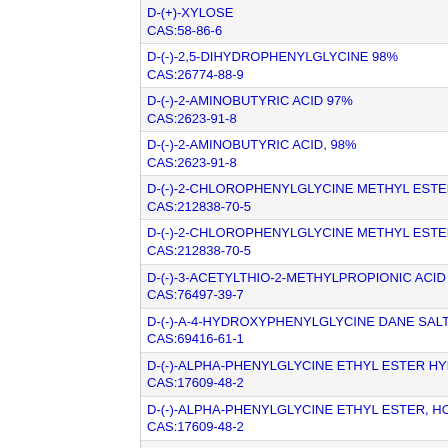D-(+)-XYLOSE
CAS:58-86-6
D-(-)-2,5-DIHYDROPHENYLGLYCINE 98%
CAS:26774-88-9
D-(-)-2-AMINOBUTYRIC ACID 97%
CAS:2623-91-8
D-(-)-2-AMINOBUTYRIC ACID, 98%
CAS:2623-91-8
D-(-)-2-CHLOROPHENYLGLYCINE METHYL ESTER H...
CAS:212838-70-5
D-(-)-2-CHLOROPHENYLGLYCINE METHYL ESTER H...
CAS:212838-70-5
D-(-)-3-ACETYLTHIO-2-METHYLPROPIONIC ACID 95%
CAS:76497-39-7
D-(-)-A-4-HYDROXYPHENYLGLYCINE DANE SALT ME...
CAS:69416-61-1
D-(-)-ALPHA-PHENYLGLYCINE ETHYL ESTER HYDR...
CAS:17609-48-2
D-(-)-ALPHA-PHENYLGLYCINE ETHYL ESTER, HCL 97%
CAS:17609-48-2
D-(-)-ALPHA-PHENYLGLYCINE METHYL ESTER HYDR...
CAS:19883-41-1
D-(-)-ALPHA-PHENYLGLYCINE, 98%
CAS:875-74-1
D-(-)-ARABINOSE 95.00%
CAS:10323-20-3
D-(-)-ARABINOSE 97%
CAS:10323-20-3